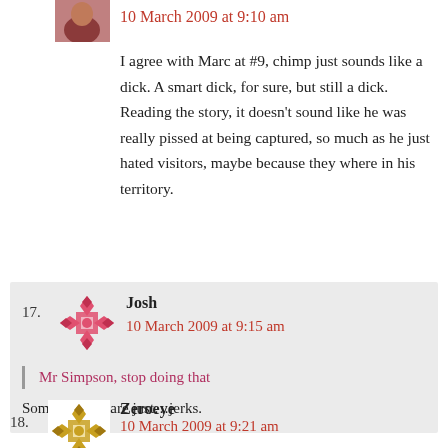[Figure (photo): Small avatar image of a person, partially visible at top]
10 March 2009 at 9:10 am
I agree with Marc at #9, chimp just sounds like a dick. A smart dick, for sure, but still a dick. Reading the story, it doesn't sound like he was really pissed at being captured, so much as he just hated visitors, maybe because they where in his territory.
17.
[Figure (illustration): Red decorative geometric avatar icon for user Josh]
Josh
10 March 2009 at 9:15 am
Mr Simpson, stop doing that
Some animals are just…jerks.
18.
[Figure (illustration): Gold/yellow decorative geometric avatar icon for user Zeroeye]
Zeroeye
10 March 2009 at 9:21 am